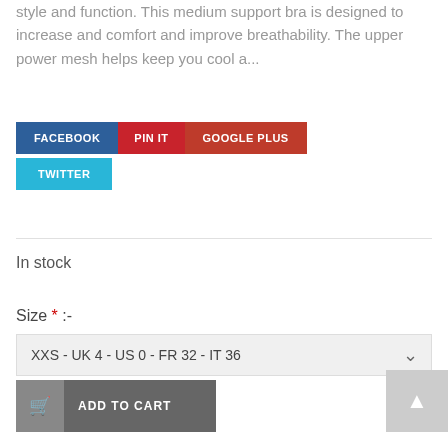style and function. This medium support bra is designed to increase and comfort and improve breathability. The upper power mesh helps keep you cool a...
[Figure (other): Social sharing buttons: FACEBOOK (blue), PIN IT (red), GOOGLE PLUS (dark red), TWITTER (light blue)]
In stock
Size * :-
XXS - UK 4 - US 0 - FR 32 - IT 36
ADD TO CART